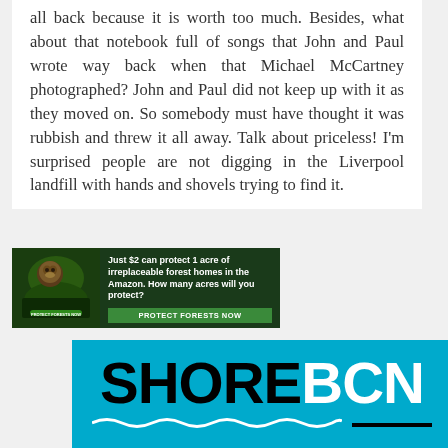all back because it is worth too much. Besides, what about that notebook full of songs that John and Paul wrote way back when that Michael McCartney photographed? John and Paul did not keep up with it as they moved on. So somebody must have thought it was rubbish and threw it all away. Talk about priceless! I'm surprised people are not digging in the Liverpool landfill with hands and shovels trying to find it.
[Figure (infographic): Advertisement banner for Amazon forest protection. Shows a primate in green forest. Text: 'Just $2 can protect 1 acre of irreplaceable forest homes in the Amazon. How many acres will you protect?' with a green 'PROTECT FORESTS NOW' button.]
[Figure (logo): SHORE BCN logo on cyan/teal background. 'SHORE' in black bold text, 'BCN' in white bold text, with wave decoration underline and a black horizontal bar.]